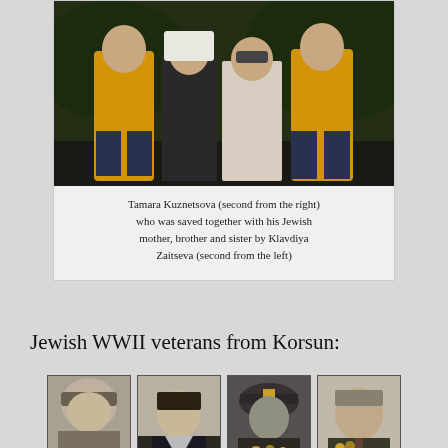[Figure (photo): Group photo of four people — two children in yellow hooded sweatshirts, one elderly woman in dark clothes with white headscarf, and one adult woman with sunglasses in light patterned jacket, standing outdoors.]
Tamara Kuznetsova (second from the right) who was saved together with his Jewish mother, brother and sister by Klavdiya Zaitseva (second from the left)
Jewish WWII veterans from Korsun:
[Figure (photo): Portrait photo of Uhim Zaharovich — a young man in military cap]
[Figure (photo): Portrait photo of Oleksandr Hunovich — a young man in sailor uniform]
[Figure (photo): Portrait photo of Iosef Grigorovich — a man in military cap and uniform with medals]
[Figure (photo): Portrait photo of Aaron Isakovich — an older man in suit with medals]
Uhim Zaharovich
Oleksandr Hunovich
Iosef Grigorovich
Aaron Isakovich